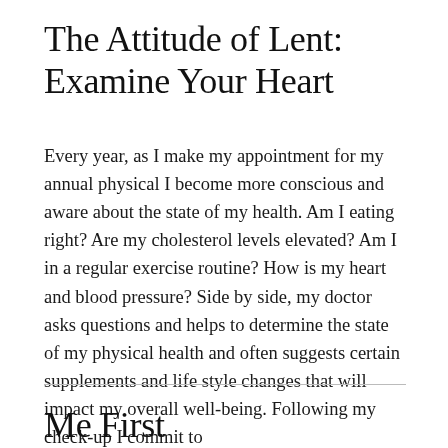The Attitude of Lent: Examine Your Heart
Every year, as I make my appointment for my annual physical I become more conscious and aware about the state of my health. Am I eating right? Are my cholesterol levels elevated? Am I in a regular exercise routine? How is my heart and blood pressure? Side by side, my doctor asks questions and helps to determine the state of my physical health and often suggests certain supplements and life style changes that will impact my overall well-being. Following my check-up I commit to
Me First